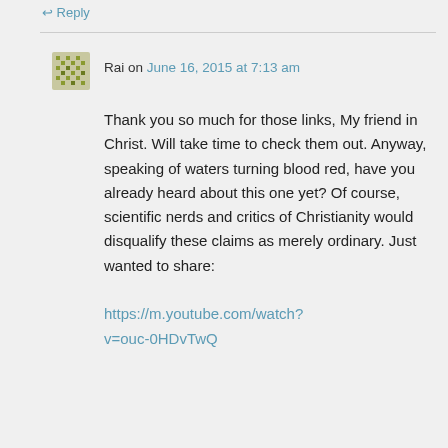↩ Reply
Rai on June 16, 2015 at 7:13 am
Thank you so much for those links, My friend in Christ. Will take time to check them out. Anyway, speaking of waters turning blood red, have you already heard about this one yet? Of course, scientific nerds and critics of Christianity would disqualify these claims as merely ordinary. Just wanted to share:
https://m.youtube.com/watch?v=ouc-0HDvTwQ